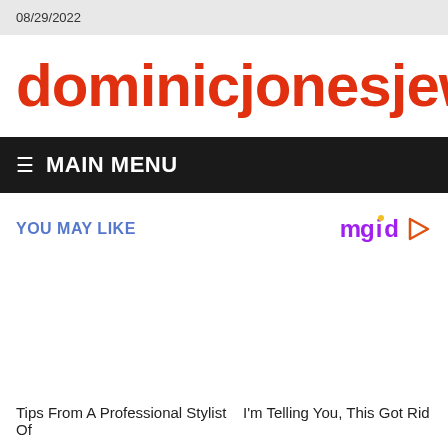08/29/2022
dominicjonesjewelry.c
≡ MAIN MENU
YOU MAY LIKE
[Figure (logo): mgid logo with play button triangle]
Tips From A Professional Stylist   I'm Telling You, This Got Rid Of